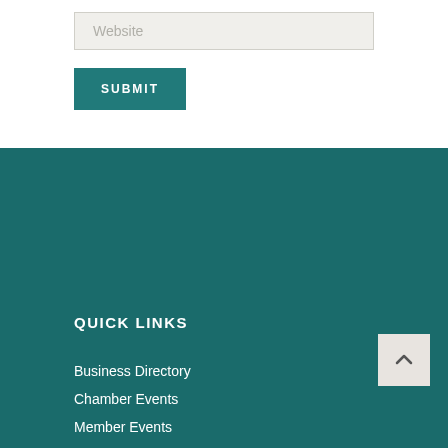Website
SUBMIT
QUICK LINKS
Business Directory
Chamber Events
Member Events
Advocacy
Membership
About
Business Services